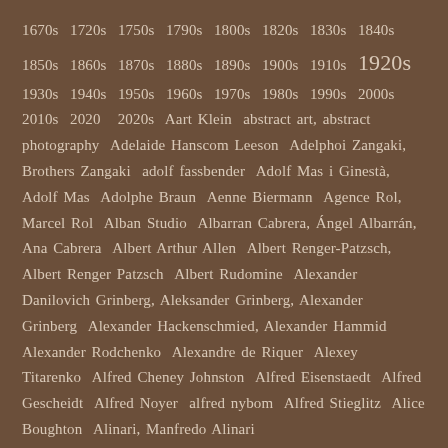1670s  1720s  1750s  1790s  1800s  1820s  1830s  1840s  1850s  1860s  1870s  1880s  1890s  1900s  1910s  1920s  1930s  1940s  1950s  1960s  1970s  1980s  1990s  2000s  2010s  2020  2020s  Aart Klein  abstract art, abstract photography  Adelaide Hanscom Leeson  Adelphoi Zangaki, Brothers Zangaki  adolf fassbender  Adolf Mas i Ginestà, Adolf Mas  Adolphe Braun  Aenne Biermann  Agence Rol, Marcel Rol  Alban Studio  Albarran Cabrera, Ángel Albarrán, Ana Cabrera  Albert Arthur Allen  Albert Renger-Patzsch, Albert Renger Patzsch  Albert Rudomine  Alexander Danilovich Grinberg, Aleksander Grinberg, Alexander Grinberg  Alexander Hackenschmied, Alexander Hammid  Alexander Rodchenko  Alexandre de Riquer  Alexey Titarenko  Alfred Cheney Johnston  Alfred Eisenstaedt  Alfred Gescheidt  Alfred Noyer  alfred nybom  Alfred Stieglitz  Alice Boughton  Alinari, Manfredo Alinari